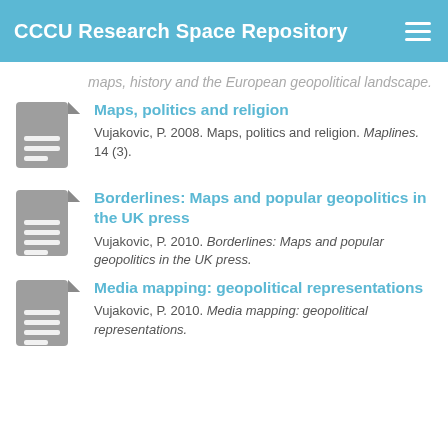CCCU Research Space Repository
maps, history and the European geopolitical landscape.
Maps, politics and religion
Vujakovic, P. 2008. Maps, politics and religion. Maplines. 14 (3).
Borderlines: Maps and popular geopolitics in the UK press
Vujakovic, P. 2010. Borderlines: Maps and popular geopolitics in the UK press.
Media mapping: geopolitical representations
Vujakovic, P. 2010. Media mapping: geopolitical representations.